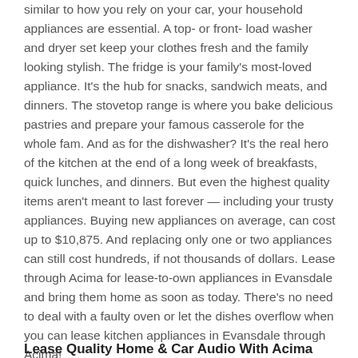similar to how you rely on your car, your household appliances are essential. A top- or front- load washer and dryer set keep your clothes fresh and the family looking stylish. The fridge is your family's most-loved appliance. It's the hub for snacks, sandwich meats, and dinners. The stovetop range is where you bake delicious pastries and prepare your famous casserole for the whole fam. And as for the dishwasher? It's the real hero of the kitchen at the end of a long week of breakfasts, quick lunches, and dinners. But even the highest quality items aren't meant to last forever — including your trusty appliances. Buying new appliances on average, can cost up to $10,875. And replacing only one or two appliances can still cost hundreds, if not thousands of dollars. Lease through Acima for lease-to-own appliances in Evansdale and bring them home as soon as today. There's no need to deal with a faulty oven or let the dishes overflow when you can lease kitchen appliances in Evansdale through Acima!
Lease Quality Home & Car Audio With Acima